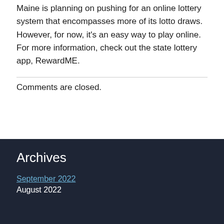Maine is planning on pushing for an online lottery system that encompasses more of its lotto draws. However, for now, it's an easy way to play online. For more information, check out the state lottery app, RewardME.
Comments are closed.
Archives
September 2022
August 2022